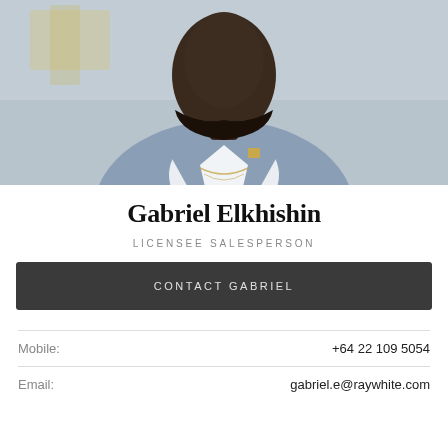[Figure (photo): Professional headshot of Gabriel Elkhishin wearing a light blue suit jacket, white dress shirt, gold chain necklace, and a gold lapel pin. Background is blurred outdoor scene.]
Gabriel Elkhishin
LICENSEE SALESPERSON
CONTACT GABRIEL
Mobile: +64 22 109 5054
Email: gabriel.e@raywhite.com